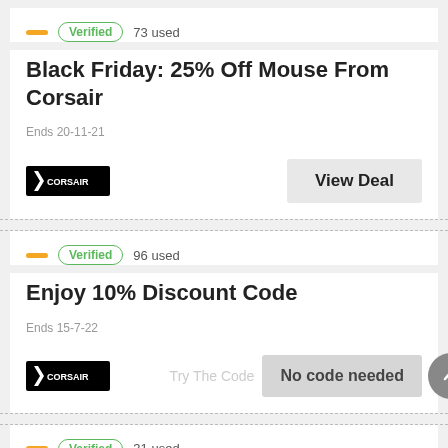Verified  73 used
Black Friday: 25% Off Mouse From Corsair
Ends 20-11-21
View Deal
Verified  96 used
Enjoy 10% Discount Code
Ends 15-7-22
Try The Code  No code needed
Verified  31 used